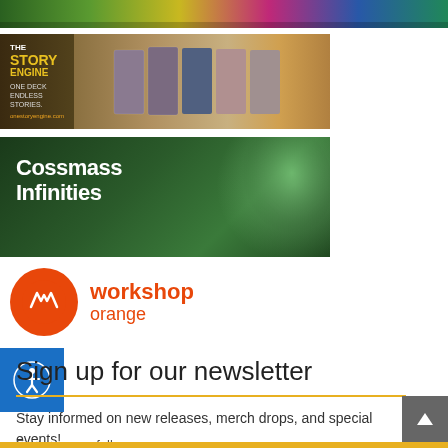[Figure (illustration): Top colorful banner with fantasy/game art imagery, partially visible]
[Figure (illustration): The Story Engine advertisement banner: 'ONE DECK ENDLESS STORIES' with card images on wooden table background]
[Figure (illustration): Cossmass Infinities advertisement banner with dark green forest/nature background and white bold text reading 'Cossmass Infinities']
[Figure (logo): Workshop Orange logo: orange circle with stylized W, text 'workshop orange' in orange]
[Figure (illustration): Blue accessibility icon button with person/wheelchair symbol in white circle]
Sign up for our newsletter
Stay informed on new releases, merch drops, and special events!
First name or full name